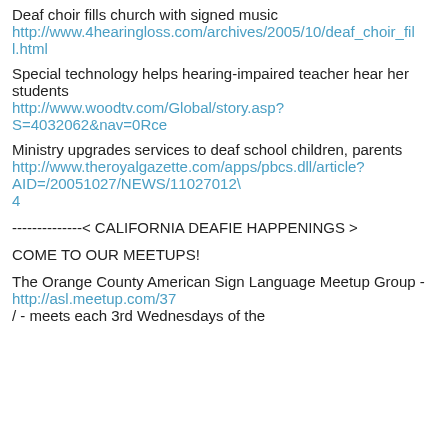Deaf choir fills church with signed music
http://www.4hearingloss.com/archives/2005/10/deaf_choir_fill.html
Special technology helps hearing-impaired teacher hear her students
http://www.woodtv.com/Global/story.asp?S=4032062&nav=0Rce
Ministry upgrades services to deaf school children, parents
http://www.theroyalgazette.com/apps/pbcs.dll/article?AID=/20051027/NEWS/11027012\4
--------------< CALIFORNIA DEAFIE HAPPENINGS >
COME TO OUR MEETUPS!
The Orange County American Sign Language Meetup Group -
http://asl.meetup.com/37
/ - meets each 3rd Wednesdays of the